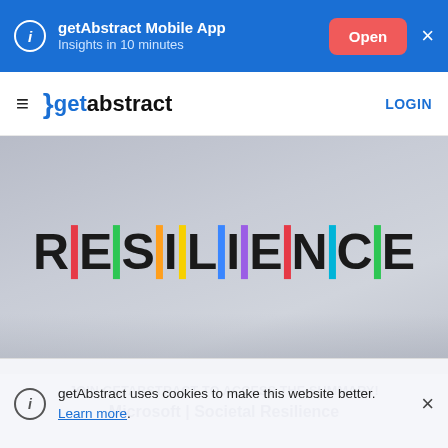getAbstract Mobile App — Insights in 10 minutes — Open
getabstract — LOGIN
[Figure (photo): Photo of a sign spelling RESILIENCE with multicolored vertical bars between letters, on a grey blurred background.]
JOIN GETABSTRACT TO ACCESS THE SUMMARY!
Microsoft | Societal Resilience
getAbstract uses cookies to make this website better. Learn more.